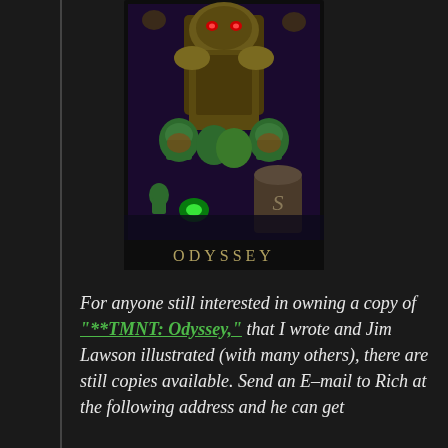[Figure (illustration): Comic book cover for TMNT: Odyssey showing ninja turtles and a large armored villain, with the title ODYSSEY at the bottom in stylized text on a dark background]
For anyone still interested in owning a copy of "**TMNT: Odyssey," that I wrote and Jim Lawson illustrated (with many others), there are still copies available. Send an E-mail to Rich at the following address and he can get